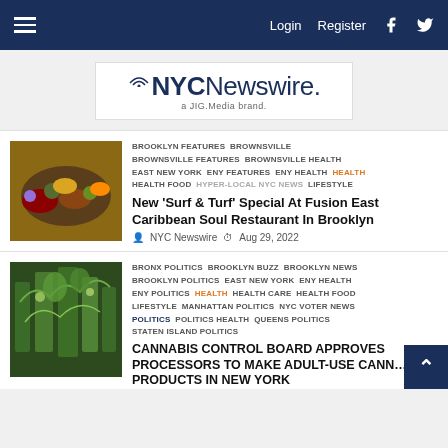NYC Newswire navigation bar with Login, Register, Facebook, Twitter
[Figure (logo): NYC Newswire logo - a JIG.Media brand]
[Figure (photo): Food photo showing grilled meats and vegetables]
BROOKLYN FEATURES  BROWNSVILLE  BROWNSVILLE FEATURES  BROWNSVILLE HEALTH  EAST NEW YORK  ENY FEATURES  ENY HEALTH  HEALTH  HEALTH FOOD  HYPER-LOCAL NYC NEWS  LIFESTYLE
New 'Surf & Turf' Special At Fusion East Caribbean Soul Restaurant In Brooklyn
NYC Newswire  Aug 29, 2022
[Figure (photo): Cannabis plant close-up photo]
BRONX POLITICS  BROOKLYN BUZZ  BROOKLYN NEWS  BROOKLYN POLITICS  EAST NEW YORK  ENY HEALTH  ENY POLITICS  HEALTH  HEALTH CARE  HEALTH FOOD  LIFESTYLE  MANHATTAN POLITICS  NYC VOTER NEWS  POLITICS  POLITICS HEALTH  QUEENS POLITICS  STATEN ISLAND POLITICS
CANNABIS CONTROL BOARD APPROVES PROCESSORS TO MAKE ADULT-USE CANNABIS PRODUCTS IN NEW YORK